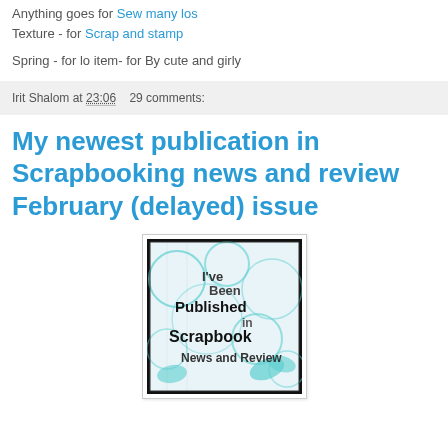Anything goes for Sew many los
Texture - for Scrap and stamp
Spring - for lo item- for By cute and girly
Irit Shalom at 23:06   29 comments:
My newest publication in Scrapbooking news and review February (delayed) issue
[Figure (photo): Badge image reading 'I've Been Published in Scrapbook News and Review' with decorative swirl and butterfly design in black, white, and teal]